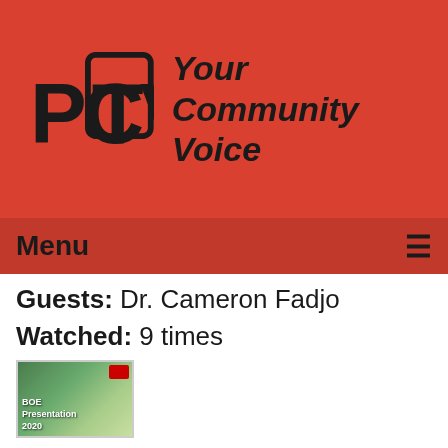[Figure (logo): PCTV logo with text 'Your Community Voice' on red background]
Menu ☰
Guests: Dr. Cameron Fadjo
Watched: 9 times
[Figure (screenshot): Thumbnail image showing BOE Presentation 2020 slide]
The Board of Education Meeting of 11-24-2020
Air date: 11/24/2020